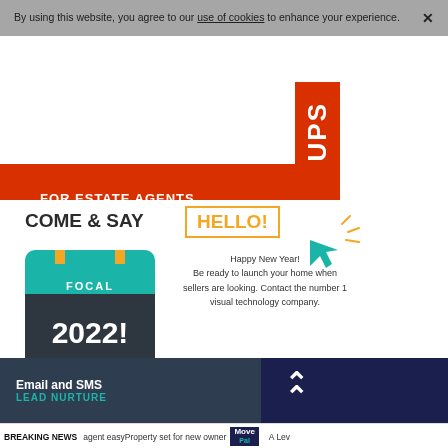By using this website, you agree to our use of cookies to enhance your experience.
[Figure (infographic): Red banner ad with text FOR ESTATE AGENTS and FIND OUT MORE button, with UPS text label]
[Figure (infographic): COME & SAY HELLO! FocalAgent 2022 calendar advertisement with Happy New Year message]
[Figure (infographic): Email and SMS LEAD NURTURE banner on dark background with upward arrows]
BREAKING NEWS   agent easyProperty set for new owner   MovePal   A Lev